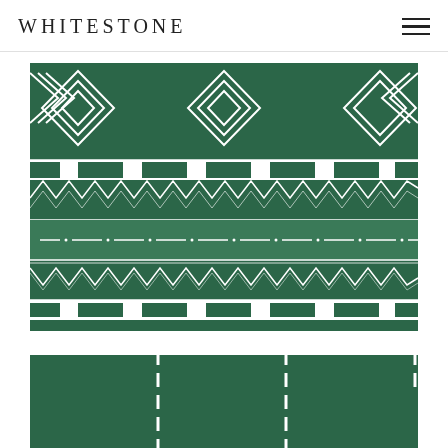WHITESTONE
[Figure (illustration): Green decorative rug textile pattern with geometric motifs: diamond shapes at top, dashed rectangle blocks, zigzag/chevron rows, dash-dot line, inverted zigzag row, and more dashed rectangles at bottom.]
[Figure (illustration): Three side-by-side green rectangular sections of rug, showing the plain field of the rug fabric with white dashed vertical dividing lines.]